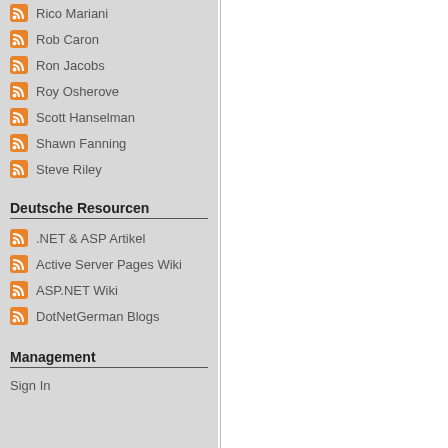Rico Mariani
Rob Caron
Ron Jacobs
Roy Osherove
Scott Hanselman
Shawn Fanning
Steve Riley
Deutsche Resourcen
.NET & ASP Artikel
Active Server Pages Wiki
ASP.NET Wiki
DotNetGerman Blogs
Management
Sign In